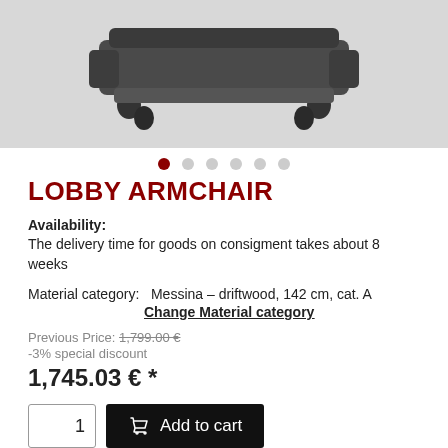[Figure (photo): Photo of a dark gray lobby armchair viewed from below/front angle showing the seat cushion, armrests, and four legs on a white background]
LOBBY ARMCHAIR
Availability:
The delivery time for goods on consigment takes about 8 weeks
Material category:   Messina – driftwood, 142 cm, cat. A
Change Material category
Previous Price: 1,799.00 €
-3% special discount
1,745.03 € *
Unit: ea.
VE at 1 ea.